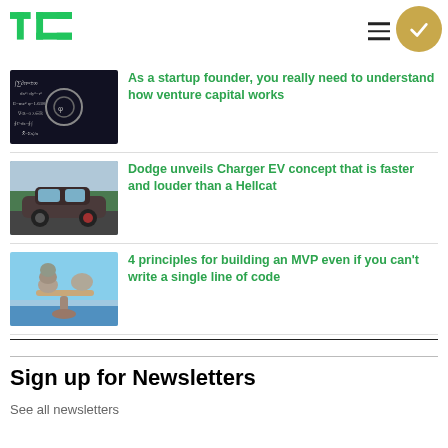TechCrunch
As a startup founder, you really need to understand how venture capital works
Dodge unveils Charger EV concept that is faster and louder than a Hellcat
4 principles for building an MVP even if you can't write a single line of code
Sign up for Newsletters
See all newsletters